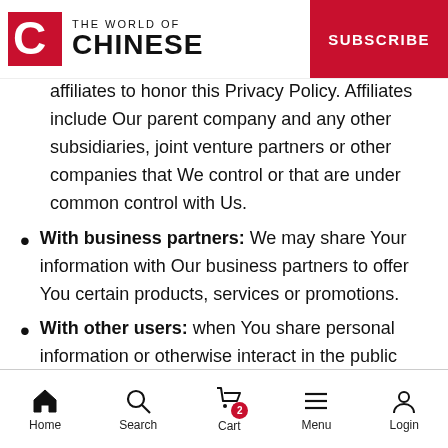THE WORLD OF CHINESE | SUBSCRIBE
affiliates to honor this Privacy Policy. Affiliates include Our parent company and any other subsidiaries, joint venture partners or other companies that We control or that are under common control with Us.
With business partners: We may share Your information with Our business partners to offer You certain products, services or promotions.
With other users: when You share personal information or otherwise interact in the public areas with other users, such information may be viewed by all users and may be publicly distributed outside.
With Your consent: We may disclose Your personal
Home | Search | Cart | Menu | Login